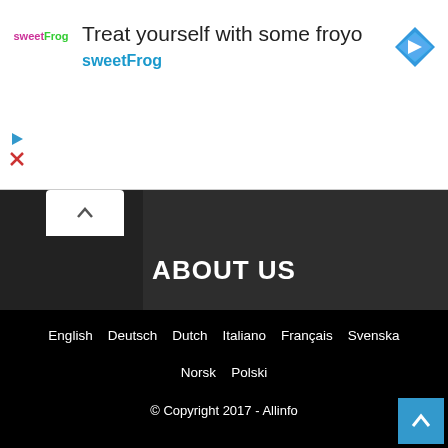[Figure (screenshot): Ad banner for sweetFrog frozen yogurt. Shows sweetFrog logo on left, headline 'Treat yourself with some froyo' and subheadline 'sweetFrog' in cyan, and a blue navigation arrow icon on the right.]
ABOUT US
FOLLOW US
English   Deutsch   Dutch   Italiano   Français   Svenska   Norsk   Polski
© Copyright 2017 - Allinfo